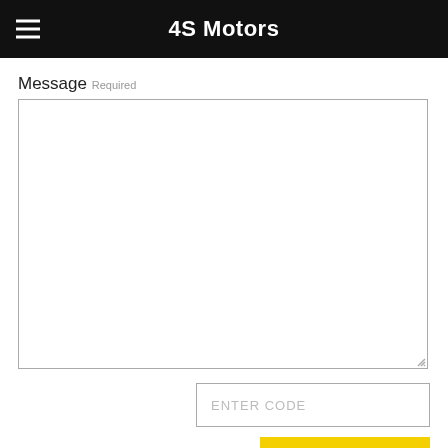4S Motors
Message Required
[Figure (screenshot): Empty message text area input field with resize handle]
ENTER CODE
Reset
Send